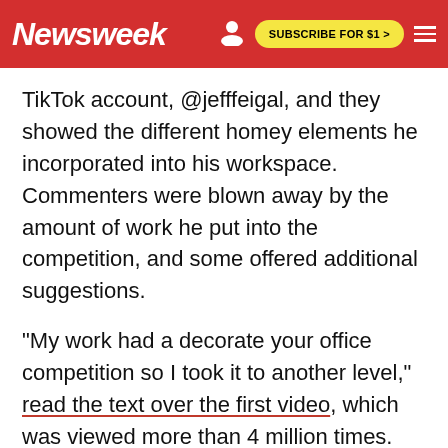Newsweek | SUBSCRIBE FOR $1 >
TikTok account, @jefffeigal, and they showed the different homey elements he incorporated into his workspace. Commenters were blown away by the amount of work he put into the competition, and some offered additional suggestions.
"My work had a decorate your office competition so I took it to another level," read the text over the first video, which was viewed more than 4 million times.